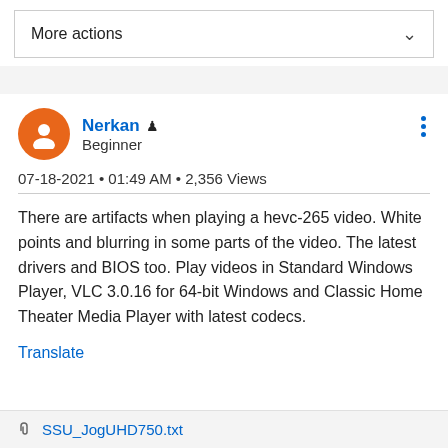More actions
Nerkan  Beginner
07-18-2021 • 01:49 AM • 2,356 Views
There are artifacts when playing a hevc-265 video. White points and blurring in some parts of the video. The latest drivers and BIOS too. Play videos in Standard Windows Player, VLC 3.0.16 for 64-bit Windows and Classic Home Theater Media Player with latest codecs.
Translate
SSU_JogUHD750.txt